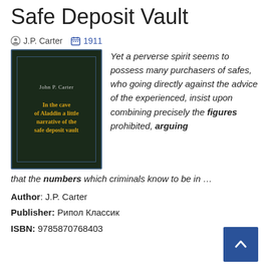Safe Deposit Vault
J.P. Carter  1911
[Figure (illustration): Book cover of 'In the cave of Aladdin a little narrative of the safe deposit vault' by John P. Carter, dark green/black cover with gold border and yellow title text]
Yet a perverse spirit seems to possess many purchasers of safes, who going directly against the advice of the experienced, insist upon combining precisely the figures prohibited, arguing that the numbers which criminals know to be in …
Author: J.P. Carter
Publisher: Рипол Классик
ISBN: 9785870768403